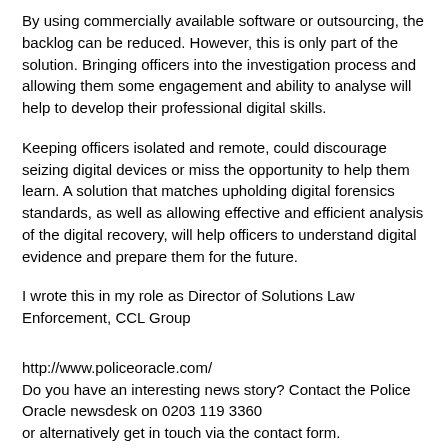By using commercially available software or outsourcing, the backlog can be reduced. However, this is only part of the solution. Bringing officers into the investigation process and allowing them some engagement and ability to analyse will help to develop their professional digital skills.
Keeping officers isolated and remote, could discourage seizing digital devices or miss the opportunity to help them learn. A solution that matches upholding digital forensics standards, as well as allowing effective and efficient analysis of the digital recovery, will help officers to understand digital evidence and prepare them for the future.
I wrote this in my role as Director of Solutions Law Enforcement, CCL Group
http://www.policeoracle.com/
Do you have an interesting news story? Contact the Police Oracle newsdesk on 0203 119 3360
or alternatively get in touch via the contact form.
CATEGORIES AND TAGS